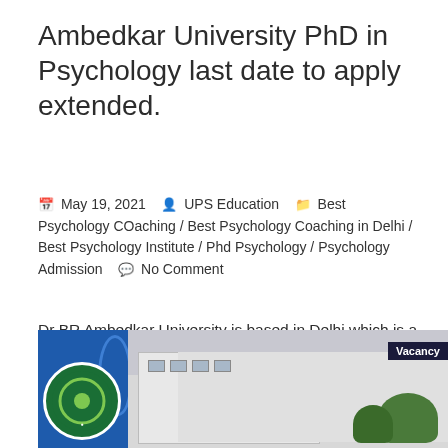Ambedkar University PhD in Psychology last date to apply extended.
May 19, 2021  UPS Education  Best Psychology COaching / Best Psychology Coaching in Delhi / Best Psychology Institute / Phd Psychology / Psychology Admission  No Comment
Dr BR Ambedkar University is based in Delhi which is a public university which has various campuses like Kashmere Gate...
[Figure (photo): Photo of a university building with a blue panel on the left showing a logo circle, a blue teardrop shape, and a white building with trees in the background. A dark banner with 'Vacancy' text is visible in the top right.]